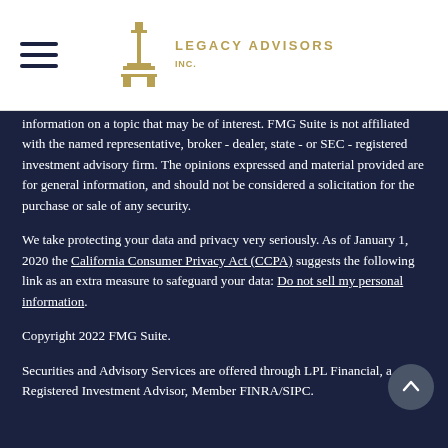[Figure (logo): Legacy Advisors Inc. logo with golden architectural icon and company name in spaced capital letters]
information on a topic that may be of interest. FMG Suite is not affiliated with the named representative, broker - dealer, state - or SEC - registered investment advisory firm. The opinions expressed and material provided are for general information, and should not be considered a solicitation for the purchase or sale of any security.
We take protecting your data and privacy very seriously. As of January 1, 2020 the California Consumer Privacy Act (CCPA) suggests the following link as an extra measure to safeguard your data: Do not sell my personal information.
Copyright 2022 FMG Suite.
Securities and Advisory Services are offered through LPL Financial, a Registered Investment Advisor, Member FINRA/SIPC.